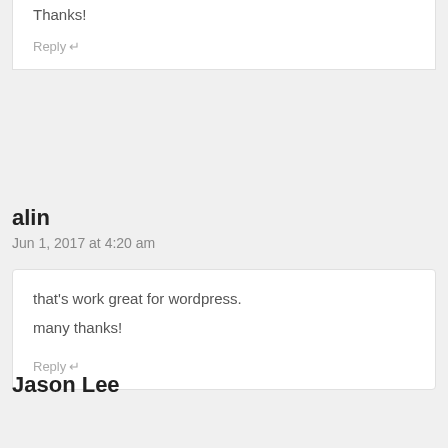Thanks!
Reply ↵
alin
Jun 1, 2017 at 4:20 am
that's work great for wordpress.
many thanks!
Reply ↵
Jason Lee
May 18, 2017 at 10:34 am